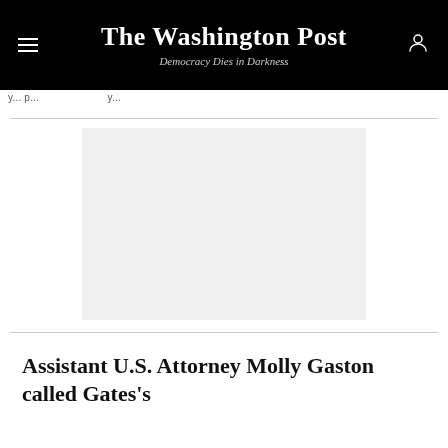The Washington Post
Democracy Dies in Darkness
y... p... y...
[Figure (other): Advertisement placeholder block, light gray background]
Assistant U.S. Attorney Molly Gaston called Gates's